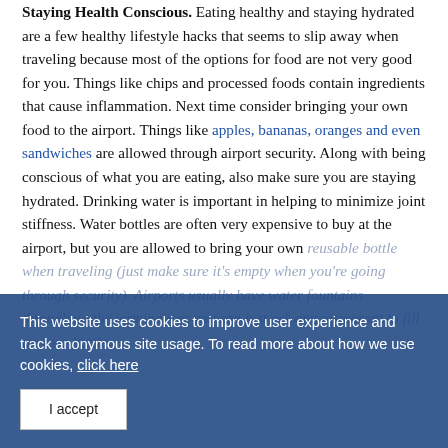Staying Health Conscious. Eating healthy and staying hydrated are a few healthy lifestyle hacks that seems to slip away when traveling because most of the options for food are not very good for you. Things like chips and processed foods contain ingredients that cause inflammation. Next time consider bringing your own food to the airport. Things like apples, bananas, oranges and even sandwiches are allowed through airport security. Along with being conscious of what you are eating, also make sure you are staying hydrated. Drinking water is important in helping to minimize joint stiffness. Water bottles are often very expensive to buy at the airport, but you are allowed to bring your own reusable bottle when traveling (just make sure it's empty when you're going through security). Airports usually have water fountains throughout the terminals or you can just ask any restaurant to fill up your bottle.
This website uses cookies to improve user experience and track anonymous site usage. To read more about how we use cookies, click here
I accept